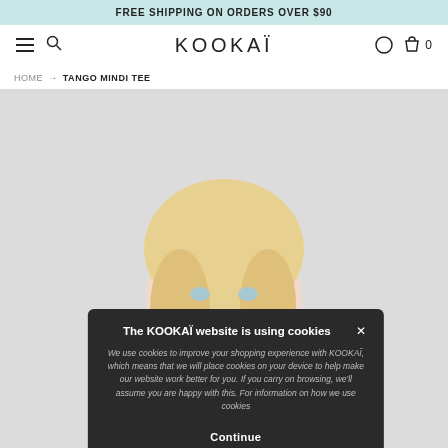FREE SHIPPING ON ORDERS OVER $90
KOOKAÏ
HOME → TANGO MINDI TEE
[Figure (photo): A blonde female model wearing a pink top, photographed against a light grey background, showing face and upper torso. A cookie consent popup overlays the bottom portion of the image.]
The KOOKAÏ website is using cookies

We use cookies to improve your shopping experience with KOOKAÏ, which means that we will place cookies on your device to help make our website work better for you. If you carry on browsing, we'll assume you are happy with this. For information on how we use cookies

Continue